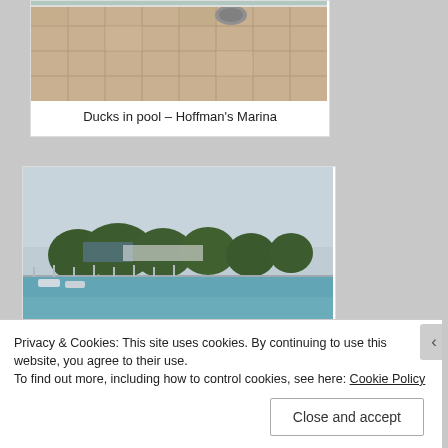[Figure (photo): Photo of pool deck with beige/tan paving stones, partial view of pool edge at top, object on deck]
Ducks in pool – Hoffman's Marina
[Figure (photo): Outdoor swimming pool with chain-link fence surround, trees and marina/boats visible in background, overcast sky]
Privacy & Cookies: This site uses cookies. By continuing to use this website, you agree to their use.
To find out more, including how to control cookies, see here: Cookie Policy